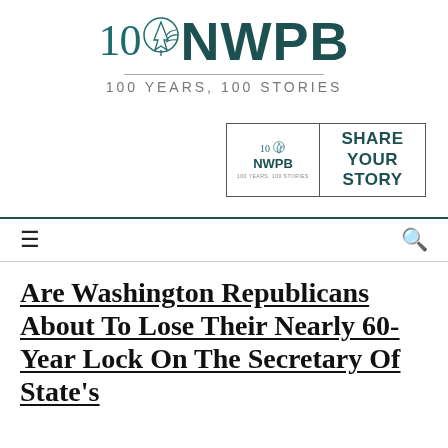[Figure (logo): NWPB 100 Years, 100 Stories logo with tree icon and tagline]
[Figure (logo): NWPB Share Your Story banner/advertisement box]
Are Washington Republicans About To Lose Their Nearly 60-Year Lock On The Secretary Of State's